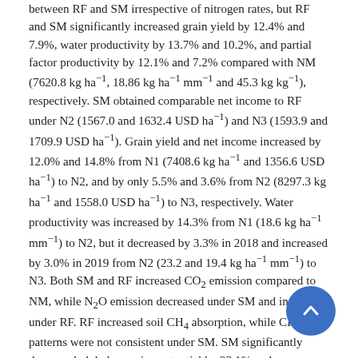between RF and SM irrespective of nitrogen rates, but RF and SM significantly increased grain yield by 12.4% and 7.9%, water productivity by 13.7% and 10.2%, and partial factor productivity by 12.1% and 7.2% compared with NM (7620.8 kg ha⁻¹, 18.86 kg ha⁻¹ mm⁻¹ and 45.3 kg kg⁻¹), respectively. SM obtained comparable net income to RF under N2 (1567.0 and 1632.4 USD ha⁻¹) and N3 (1593.9 and 1709.9 USD ha⁻¹). Grain yield and net income increased by 12.0% and 14.8% from N1 (7408.6 kg ha⁻¹ and 1356.6 USD ha⁻¹) to N2, and by only 5.5% and 3.6% from N2 (8297.3 kg ha⁻¹ and 1558.0 USD ha⁻¹) to N3, respectively. Water productivity was increased by 14.3% from N1 (18.6 kg ha⁻¹ mm⁻¹) to N2, but it decreased by 3.3% in 2018 and increased by 3.0% in 2019 from N2 (23.2 and 19.4 kg ha⁻¹ mm⁻¹) to N3. Both SM and RF increased CO₂ emission compared to NM, while N₂O emission decreased under SM and increased under RF. RF increased soil CH₄ absorption, while CH₄ patterns were not consistent under SM. SM significantly decreased global warming potential by 23.1% and greenhouse gas intensity by 29.0% relative to NM (405.4 kg CO₂-eq and 52.0 kg CO₂-eq t⁻¹ yield), but they were significantly increased by 62.1% and compared with NM under RF, respectively. Compared t (74.09 kg kg⁻¹), N2 and N3 decreased partial factor produ by 44.0% and 60.9%, respectively. N rate had little influence on